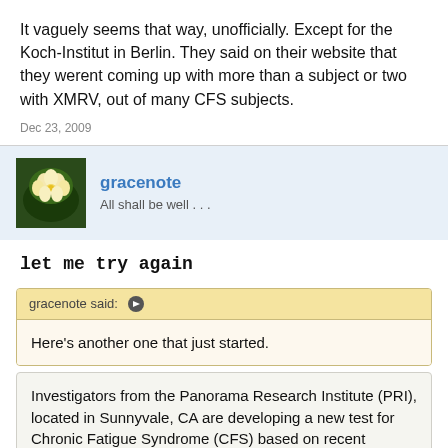It vaguely seems that way, unofficially. Except for the Koch-Institut in Berlin. They said on their website that they werent coming up with more than a subject or two with XMRV, out of many CFS subjects.
Dec 23, 2009
gracenote
All shall be well . . .
let me try again
gracenote said: ↑
Here's another one that just started.
Investigators from the Panorama Research Institute (PRI), located in Sunnyvale, CA are developing a new test for Chronic Fatigue Syndrome (CFS) based on recent findings